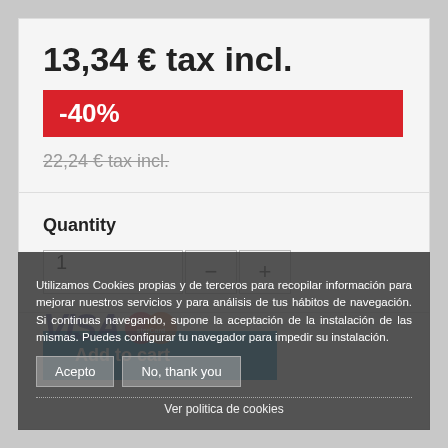13,34 € tax incl.
-40%
22,24 € tax incl.
Quantity
1
Add to cart
Utilizamos Cookies propias y de terceros para recopilar información para mejorar nuestros servicios y para análisis de tus hábitos de navegación. Si continuas navegando, supone la aceptación de la instalación de las mismas. Puedes configurar tu navegador para impedir su instalación.
Acepto
No, thank you
Ver politica de cookies